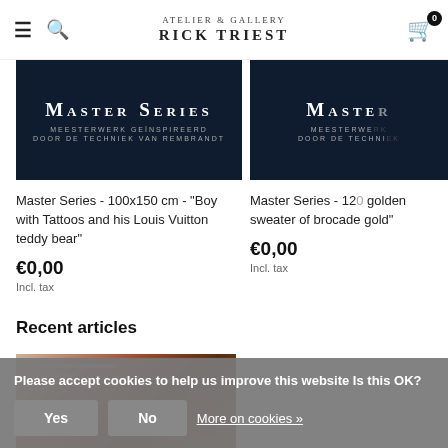Atelier & Gallery Rick Triest
[Figure (screenshot): Product image: dark navy background with 'Master Series' text, subtitle 'Meesterwerk geïnspireerd door de techniek van Rembrandt']
Master Series - 100x150 cm - "Boy with Tattoos and his Louis Vuitton teddy bear"
€0,00
Incl. tax
[Figure (screenshot): Partial product image: dark navy background with 'Master Series' text partially visible]
Master Series - 120... golden sweater of brocade gold"
€0,00
Incl. tax
Recent articles
[Figure (photo): Partial article image with warm brown and red tones]
Please accept cookies to help us improve this website Is this OK?
Yes   No   More on cookies »